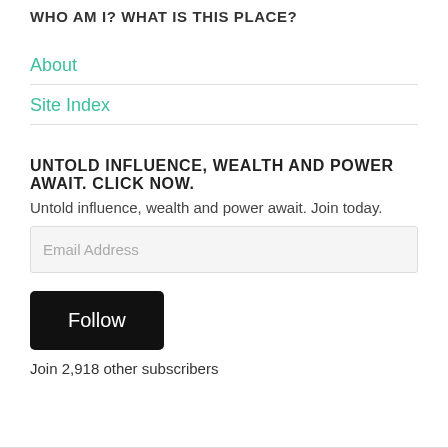WHO AM I? WHAT IS THIS PLACE?
About
Site Index
UNTOLD INFLUENCE, WEALTH AND POWER AWAIT. CLICK NOW.
Untold influence, wealth and power await. Join today.
Email Address
Follow
Join 2,918 other subscribers